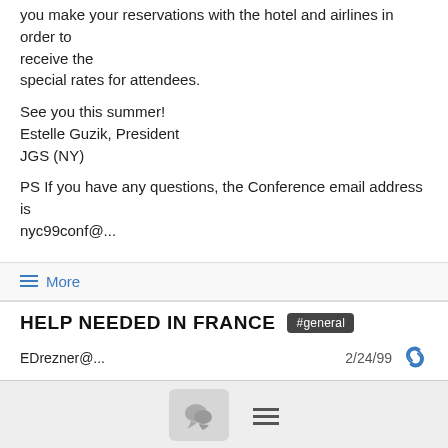you make your reservations with the hotel and airlines in order to receive the special rates for attendees.
See you this summer!
Estelle Guzik, President
JGS (NY)
PS If you have any questions, the Conference email address is nyc99conf@...
≡ More
HELP NEEDED IN FRANCE #general
EDrezner@...   2/24/99
Hello
i 'm french and living in Paris
and i need help in Paris, (funny, isn't it?)